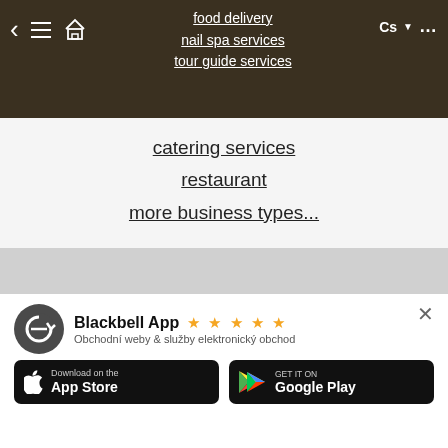food delivery | nail spa services | tour guide services
catering services
restaurant
more business types...
[Figure (screenshot): Blackbell App banner with 5 gold stars, app icon, subtitle 'Obchodní weby & služby elektronický obchod', App Store and Google Play download buttons]
Blackbell App ★ ★ ★ ★ ★
Obchodní weby & služby elektronický obchod
Download on the App Store
GET IT ON Google Play